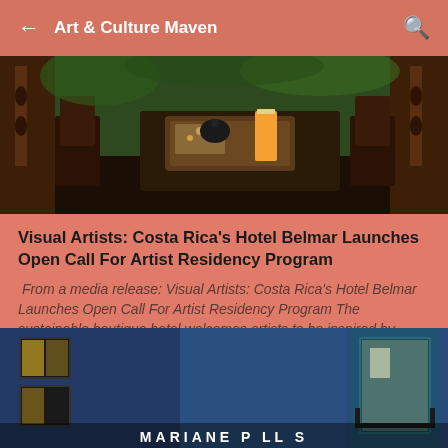← Art & Culture Maven 🔍
[Figure (photo): Outdoor patio table with wooden chairs, a serving tray with food and an orange drink, surrounded by wooden railing with decorative cutouts and green foliage in background]
Visual Artists: Costa Rica's Hotel Belmar Launches Open Call For Artist Residency Program
From a media release: Visual Artists: Costa Rica's Hotel Belmar Launches Open Call For Artist Residency Program The sustainable boutique hotel welcomes artists to be inspired by nature MONTEVERDE, Costa Rica – Hotel Belmar, a leading ...
[Figure (photo): Blue brick building facade with yellow-lit windows, partial view of signage at bottom reading partial letters]